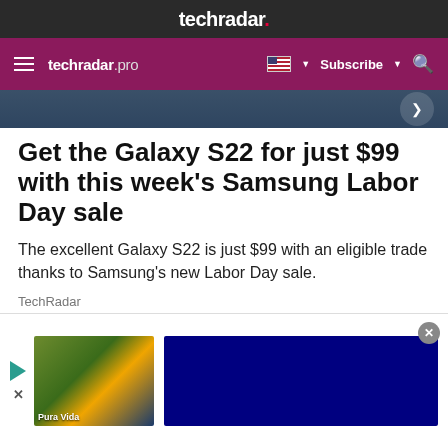techradar.
techradar pro  Subscribe
[Figure (screenshot): Cropped hero image strip with dark blue background and a right-arrow navigation button]
Get the Galaxy S22 for just $99 with this week's Samsung Labor Day sale
The excellent Galaxy S22 is just $99 with an eligible trade thanks to Samsung's new Labor Day sale.
TechRadar
[Figure (photo): Photo of a woman with sunglasses raising her arm, light sky background]
[Figure (screenshot): Advertisement overlay with play button, thumbnail image, and blue box]